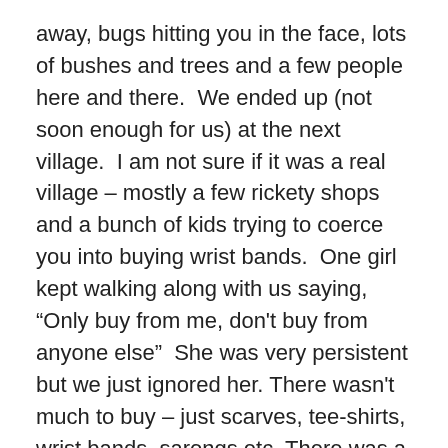away, bugs hitting you in the face, lots of bushes and trees and a few people here and there.  We ended up (not soon enough for us) at the next village.  I am not sure if it was a real village – mostly a few rickety shops and a bunch of kids trying to coerce you into buying wrist bands.  One girl kept walking along with us saying, “Only buy from me, don't buy from anyone else”  She was very persistent but we just ignored her. There wasn't much to buy – just scarves, tee-shirts, wrist bands, sarongs etc. There was a bricks works nearby so we walked over to take a look.  Dave said he had never seen anyone working there.  They used rice husks to fuel the kiln.
I guess we were there about an hour – long enough for all the sellers to try to get us to buy something.  Shawn bought a bamboo train tee-shirt.  I thought about it but the